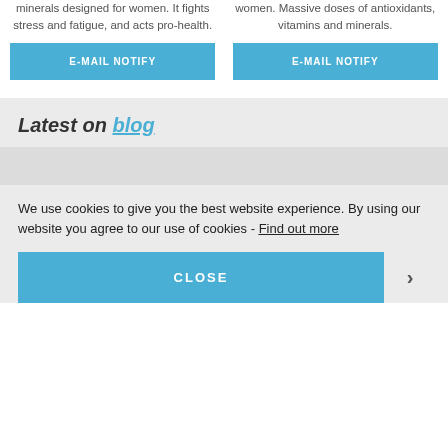minerals designed for women. It fights stress and fatigue, and acts pro-health.
women. Massive doses of antioxidants, vitamins and minerals.
E-MAIL NOTIFY
E-MAIL NOTIFY
Latest on blog
We use cookies to give you the best website experience. By using our website you agree to our use of cookies - Find out more
CLOSE